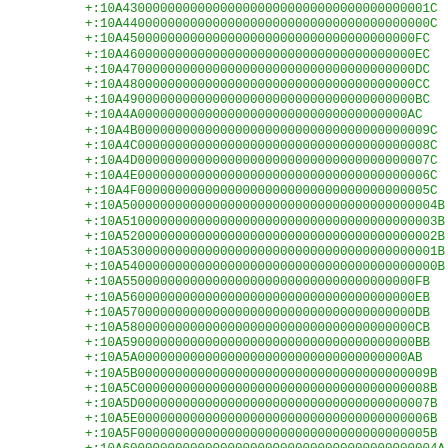+:10A43000000000000000000000000000000000000001C
+:10A44000000000000000000000000000000000000000C
+:10A450000000000000000000000000000000000000FC
+:10A460000000000000000000000000000000000000EC
+:10A470000000000000000000000000000000000000DC
+:10A480000000000000000000000000000000000000CC
+:10A490000000000000000000000000000000000000BC
+:10A4A000000000000000000000000000000000000AC
+:10A4B000000000000000000000000000000000000009C
+:10A4C000000000000000000000000000000000000008C
+:10A4D000000000000000000000000000000000000007C
+:10A4E000000000000000000000000000000000000006C
+:10A4F000000000000000000000000000000000000005C
+:10A500000000000000000000000000000000000000004B
+:10A510000000000000000000000000000000000000003B
+:10A520000000000000000000000000000000000000002B
+:10A530000000000000000000000000000000000000001B
+:10A540000000000000000000000000000000000000000B
+:10A550000000000000000000000000000000000000FB
+:10A560000000000000000000000000000000000000EB
+:10A570000000000000000000000000000000000000DB
+:10A580000000000000000000000000000000000000CB
+:10A590000000000000000000000000000000000000BB
+:10A5A000000000000000000000000000000000000AB
+:10A5B000000000000000000000000000000000000009B
+:10A5C000000000000000000000000000000000000008B
+:10A5D000000000000000000000000000000000000007B
+:10A5E000000000000000000000000000000000000006B
+:10A5F000000000000000000000000000000000000005B
+:10A600000000000000000000000000000000000000004A